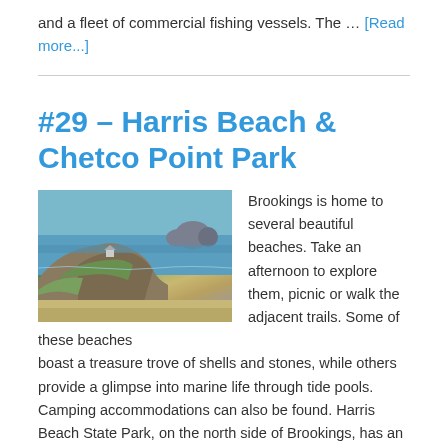and a fleet of commercial fishing vessels. The … [Read more...]
#29 – Harris Beach & Chetco Point Park
[Figure (photo): Coastal rocky cliff with ocean and rock formations at Harris Beach / Chetco Point Park near Brookings, Oregon]
Brookings is home to several beautiful beaches. Take an afternoon to explore them, picnic or walk the adjacent trails. Some of these beaches boast a treasure trove of shells and stones, while others provide a glimpse into marine life through tide pools. Camping accommodations can also be found. Harris Beach State Park, on the north side of Brookings, has an